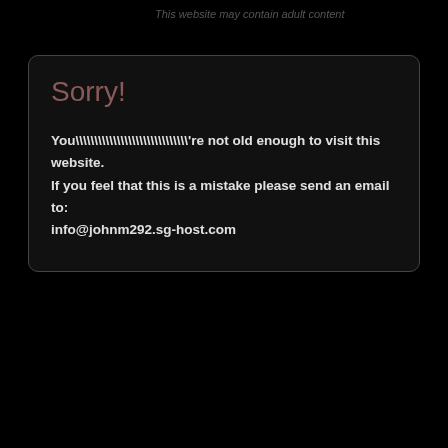This website may contain adult content
Sorry!
You\\\\\\\\\\\\\\\\\\\\\\\\\\\\'re not old enough to visit this website. If you feel that this is a mistake please send an email to: info@johnm292.sg-host.com
© Copyright Malt Marketing
For more information on DSSB, please visit...